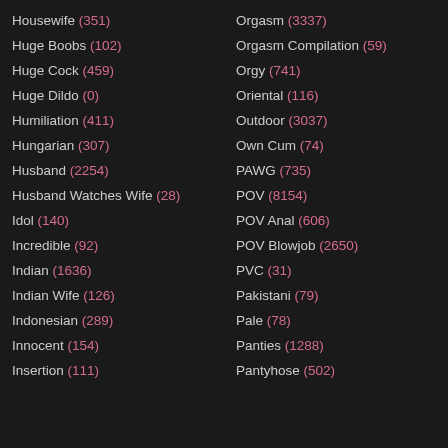Housewife (351)
Huge Boobs (102)
Huge Cock (459)
Huge Dildo (0)
Humiliation (411)
Hungarian (307)
Husband (2254)
Husband Watches Wife (28)
Idol (140)
Incredible (92)
Indian (1636)
Indian Wife (126)
Indonesian (289)
Innocent (154)
Insertion (111)
Orgasm (3337)
Orgasm Compilation (59)
Orgy (741)
Oriental (116)
Outdoor (3037)
Own Cum (74)
PAWG (735)
POV (8154)
POV Anal (606)
POV Blowjob (2650)
PVC (31)
Pakistani (79)
Pale (78)
Panties (1288)
Pantyhose (502)